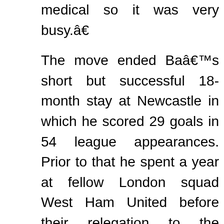medical so it was very busy.â€
The move ended Baâ€™s short but successful 18-month stay at Newcastle in which he scored 29 goals in 54 league appearances. Prior to that he spent a year at fellow London squad West Ham United before their relegation to the Championship League.
â€œWhen a club like Chelsea wants you the decision is going to be easy. They [Newcastle supporters] probably wonâ€™t be too happy but the true fans will understand,â€™ he added.
Baâ€™s arrival and immediate impact has raised questions as to whether he can play alongside celebrated but struggling striker Fernando Torres. â€œAsk the manager,â€™ Ba replied. â€œIf I have to play with him, Iâ€™ll play. If I have to be on the bench, Iâ€™ll be on the bench. The Iâ€™m here for the